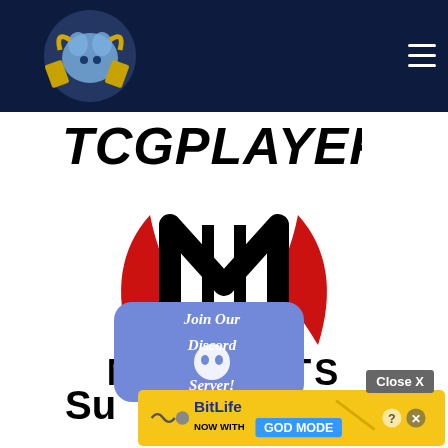[Figure (logo): Navigation bar with site logo (ram/goat mascot with cards) on dark navy background and hamburger menu icon on the right]
[Figure (logo): TCGPlayer logo text in bold italic black font]
[Figure (logo): Meta Mats logo: stylized M with red swoosh wings above, bold black text META MATS below]
[Figure (illustration): Discord server promotional banner: blue rounded speech bubble with Discord logo and text 'Join Our Discord Server!']
Su
[Figure (screenshot): BitLife advertisement banner: yellow background with BitLife logo and 'NOW WITH GOD MODE' text, close X button, pointing hand graphic]
Close X